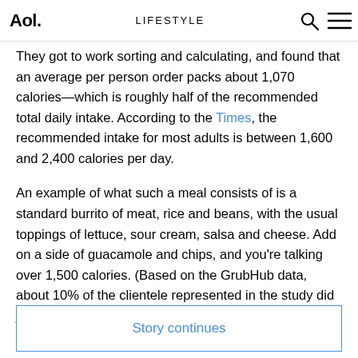Aol. LIFESTYLE
They got to work sorting and calculating, and found that an average per person order packs about 1,070 calories—which is roughly half of the recommended total daily intake. According to the Times, the recommended intake for most adults is between 1,600 and 2,400 calories per day.
An example of what such a meal consists of is a standard burrito of meat, rice and beans, with the usual toppings of lettuce, sour cream, salsa and cheese. Add on a side of guacamole and chips, and you're talking over 1,500 calories. (Based on the GrubHub data, about 10% of the clientele represented in the study did just that.)
Story continues